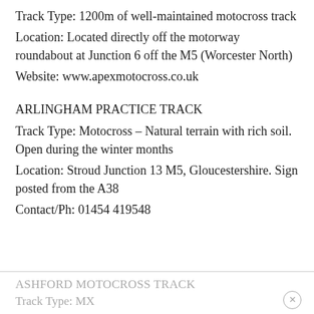Track Type: 1200m of well-maintained motocross track
Location: Located directly off the motorway roundabout at Junction 6 off the M5 (Worcester North)
Website: www.apexmotocross.co.uk
ARLINGHAM PRACTICE TRACK
Track Type: Motocross – Natural terrain with rich soil. Open during the winter months
Location: Stroud Junction 13 M5, Gloucestershire. Sign posted from the A38
Contact/Ph: 01454 419548
ASHFORD MOTOCROSS TRACK
Track Type: MX